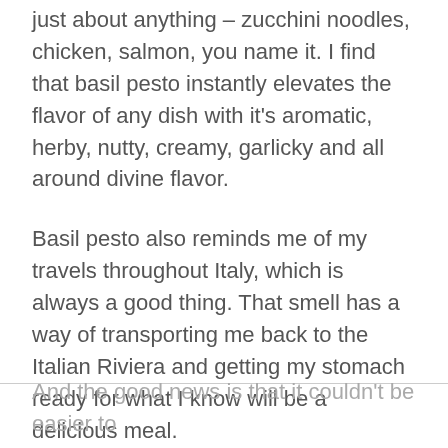just about anything – zucchini noodles, chicken, salmon, you name it. I find that basil pesto instantly elevates the flavor of any dish with it's aromatic, herby, nutty, creamy, garlicky and all around divine flavor.
Basil pesto also reminds me of my travels throughout Italy, which is always a good thing. That smell has a way of transporting me back to the Italian Riviera and getting my stomach ready for what I know will be a delicious meal.
Now, you can buy pre-packaged basil pesto at the market, but it doesn't even come close to fresh basil pesto made at home.
And the good news is that it couldn't be easier to